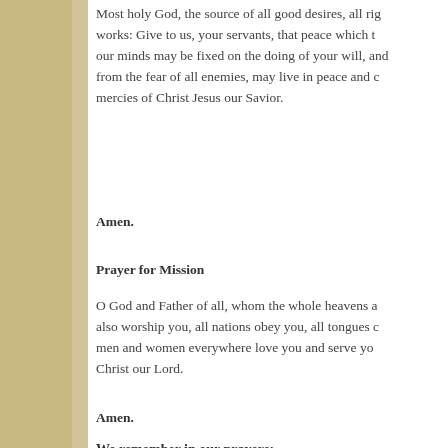Most holy God, the source of all good desires, all right works: Give to us, your servants, that peace which the world cannot give; so that our minds may be fixed on the doing of your will, and that we, being delivered from the fear of all enemies, may live in peace and quietness; through the mercies of Christ Jesus our Savior.
Amen.
Prayer for Mission
O God and Father of all, whom the whole heavens adore: Let the whole earth also worship you, all nations obey you, all tongues confess and bless you, and men and women everywhere love you and serve you in peace; through Jesus Christ our Lord.
Amen.
We remember in our prayers: